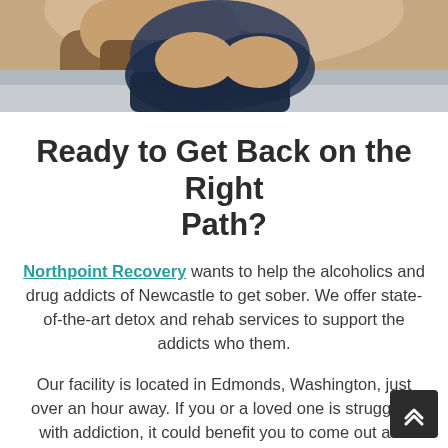[Figure (photo): Close-up photo of a person sitting with arms crossed, wearing a dark navy top, photographed from shoulders up against a light background.]
Ready to Get Back on the Right Path?
Northpoint Recovery wants to help the alcoholics and drug addicts of Newcastle to get sober. We offer state-of-the-art detox and rehab services to support the addicts who them.
Our facility is located in Edmonds, Washington, just over an hour away. If you or a loved one is struggling with addiction, it could benefit you to come out and spend some time with us.